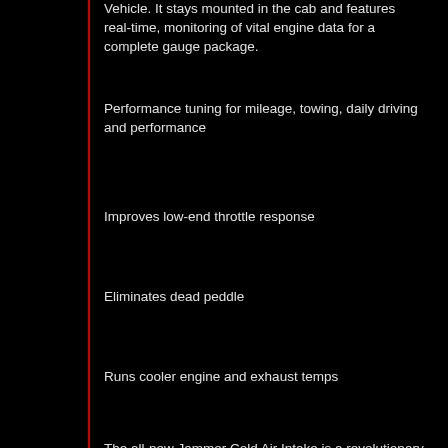Vehicle. It stays mounted in the cab and features real-time, monitoring of vital engine data for a complete gauge package.
Performance tuning for mileage, towing, daily driving and performance
Improves low-end throttle response
Eliminates dead peddle
Runs cooler engine and exhaust temps
The all-new Jammer Cold Air Intake is a revolutionary design that improves airflow by blocking hot air and using cooler, denser air for